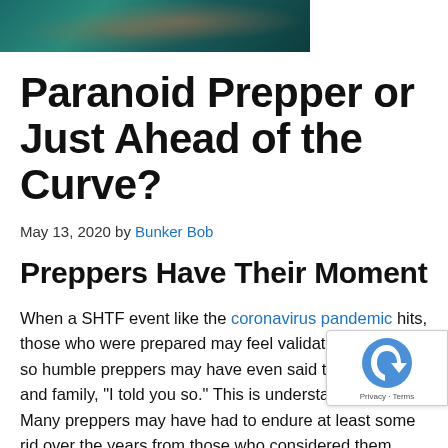[Figure (photo): Partial photo of a person showing hands/skin, teal/dark green toned background, cropped at top of page]
Paranoid Prepper or Just Ahead of the Curve?
May 13, 2020 by Bunker Bob
Preppers Have Their Moment
When a SHTF event like the coronavirus pandemic hits, those who were prepared may feel validated. Some not so humble preppers may have even said to their friends and family, “I told you so.” This is understandable. Many preppers may have had to endure at least some rid over the years from those who considered them paranoid. I’ve caught some of my friends rolling their